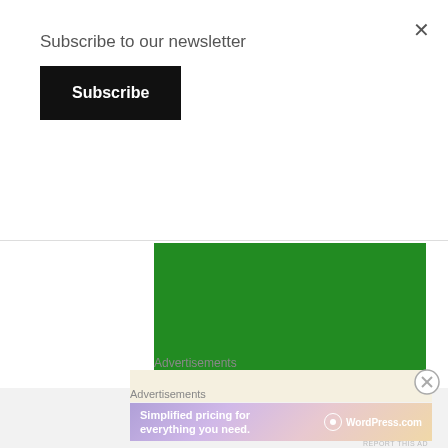×
Subscribe to our newsletter
Subscribe
[Figure (other): Green advertisement banner block]
REPORT THIS AD
Advertisements
[Figure (other): Circled X close button]
Advertisements
[Figure (other): WordPress.com advertisement banner: Simplified pricing for everything you need. WordPress.com logo.]
REPORT THIS AD